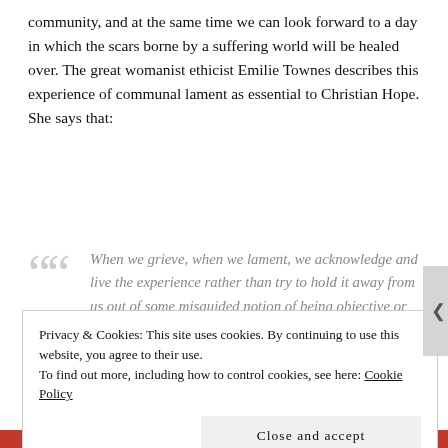community, and at the same time we can look forward to a day in which the scars borne by a suffering world will be healed over. The great womanist ethicist Emilie Townes describes this experience of communal lament as essential to Christian Hope. She says that:
When we grieve, when we lament, we acknowledge and live the experience rather than try to hold it away from us out of some misguided notion of being objective or strong. We hurt; something is fractured, if not broken...we are living in structures of evil and wickedness that make us ill. We must name them as such and seek to repent—not out of form—but from the heart. It
Privacy & Cookies: This site uses cookies. By continuing to use this website, you agree to their use.
To find out more, including how to control cookies, see here: Cookie Policy
Close and accept